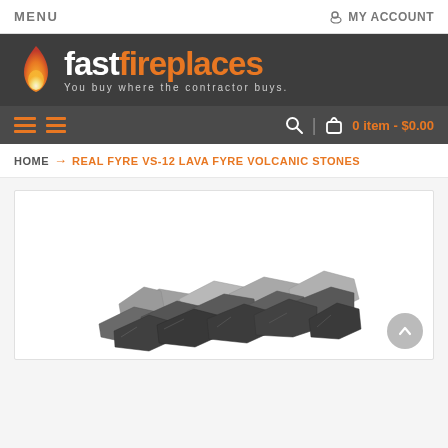MENU | MY ACCOUNT
[Figure (logo): Fast Fireplaces logo with flame icon and tagline 'You buy where the contractor buys.']
0 item - $0.00
HOME → REAL FYRE VS-12 LAVA FYRE VOLCANIC STONES
[Figure (photo): Product photo showing a pile of grey and black lava fyre volcanic stones/rocks against a white background.]